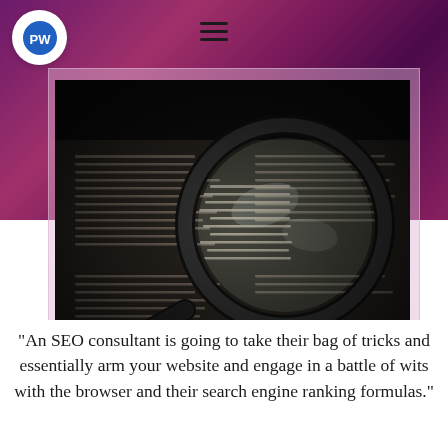[Figure (logo): Circular white logo with blue circle containing stylized 'RW' or 'PW' letters]
[Figure (photo): Close-up photo of a magnifying glass placed on a newspaper or printed text page, with dramatic dark lighting highlighting the lens and text beneath it]
"An SEO consultant is going to take their bag of tricks and essentially arm your website and engage in a battle of wits with the browser and their search engine ranking formulas."